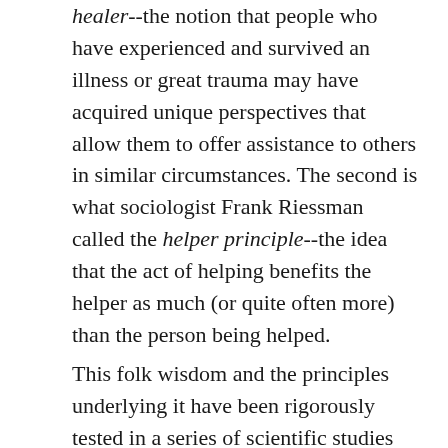healer--the notion that people who have experienced and survived an illness or great trauma may have acquired unique perspectives that allow them to offer assistance to others in similar circumstances. The second is what sociologist Frank Riessman called the helper principle--the idea that the act of helping benefits the helper as much (or quite often more) than the person being helped.
This folk wisdom and the principles underlying it have been rigorously tested in a series of scientific studies about the effects of helping activities on long-term